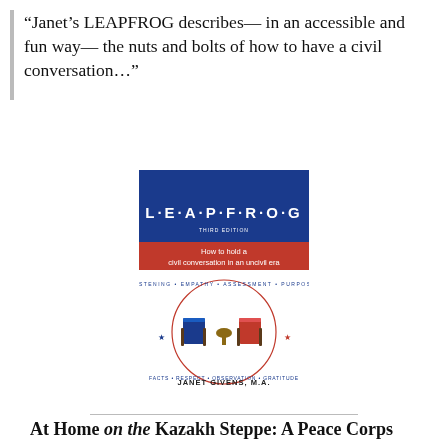“Janet’s LEAPFROG describes— in an accessible and fun way— the nuts and bolts of how to have a civil conversation…”
[Figure (illustration): Book cover of LEAPFROG, Third Edition by Janet Givens, M.A. Blue top section with title L·E·A·P·F·R·O·G in white letters. Red banner reading 'How to hold a civil conversation in an uncivil era'. White lower section with circular design showing a blue chair and red chair facing each other with words around the circle, and author name JANET GIVENS, M.A. at the bottom.]
At Home on the Kazakh Steppe: A Peace Corps Memoir